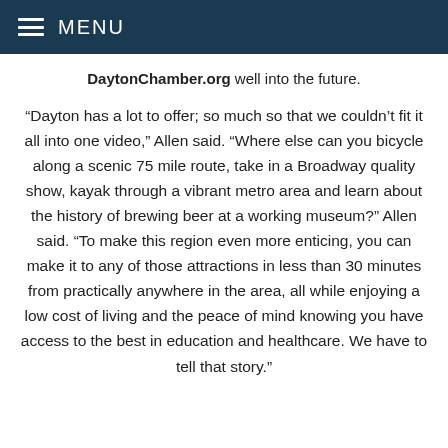≡ MENU
DaytonChamber.org well into the future.
“Dayton has a lot to offer; so much so that we couldn’t fit it all into one video,” Allen said. “Where else can you bicycle along a scenic 75 mile route, take in a Broadway quality show, kayak through a vibrant metro area and learn about the history of brewing beer at a working museum?” Allen said. “To make this region even more enticing, you can make it to any of those attractions in less than 30 minutes from practically anywhere in the area, all while enjoying a low cost of living and the peace of mind knowing you have access to the best in education and healthcare. We have to tell that story.”